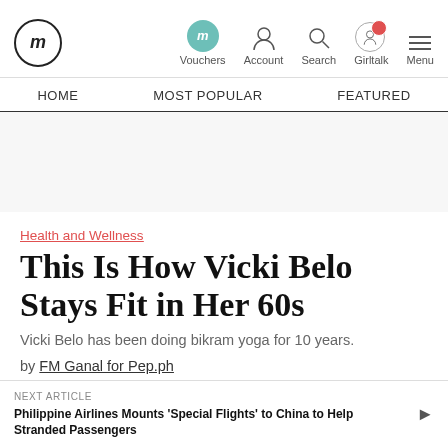fm | Vouchers | Account | Search | Girltalk | Menu
HOME | MOST POPULAR | FEATURED
Health and Wellness
This Is How Vicki Belo Stays Fit in Her 60s
Vicki Belo has been doing bikram yoga for 10 years.
by FM Ganal for Pep.ph
NEXT ARTICLE
Philippine Airlines Mounts 'Special Flights' to China to Help Stranded Passengers